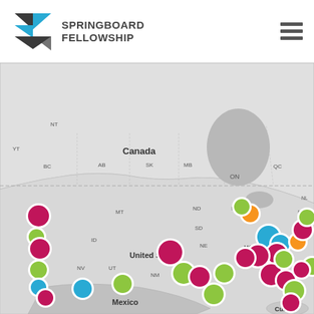[Figure (logo): Springboard Fellowship logo with geometric arrow/chevron shape in blue and dark gray]
SPRINGBOARD FELLOWSHIP
[Figure (map): Interactive map of North America (Canada, United States, Mexico, Cuba visible) with colored circle markers (magenta/pink, green, blue, orange) clustered primarily across the United States, with labels for Canada, United States, Mexico, Cuba, and Canadian province abbreviations (NT, BC, AB, SK, MB, ON, QC, NB, PE, NS, NL) and US region labels (MT, ID, UT, NV, NM, ND, SD, NE, MN, MO, NC, E). The map has a light gray background with dashed borders between countries/provinces.]